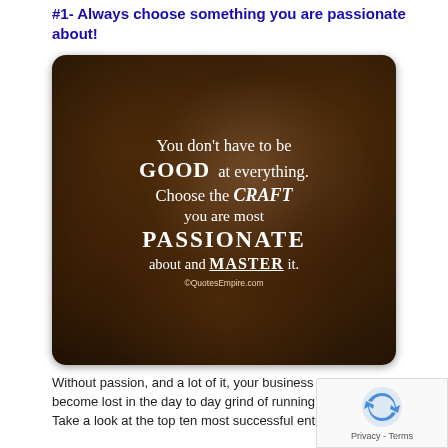#1- Always choose something you are passionate about!
[Figure (illustration): Motivational quote image on dark brown blurry coffee bean background. Text reads: 'You don't have to be GOOD at everything. Choose the CRAFT you are most PASSIONATE about and MASTER it.' with ©QuotesEmpire.com watermark.]
Without passion, and a lot of it, your business dreams w become lost in the day to day grind of running a busines Take a look at the top ten most successful entrepreneurs